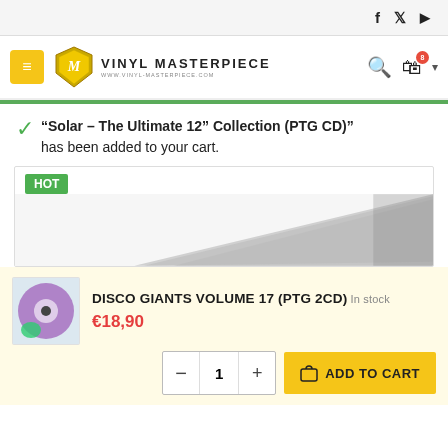f  t  ▶  (social icons top right)
[Figure (logo): Vinyl Masterpiece logo with shield emblem and text 'VINYL MASTERPIECE www.vinyl-masterpiece.com']
"Solar – The Ultimate 12" Collection (PTG CD)" has been added to your cart.
[Figure (photo): HOT label badge in green, product image showing a CD/record sleeve partially visible]
DISCO GIANTS VOLUME 17 (PTG 2CD)
In stock
€18,90
− 1 + ADD TO CART